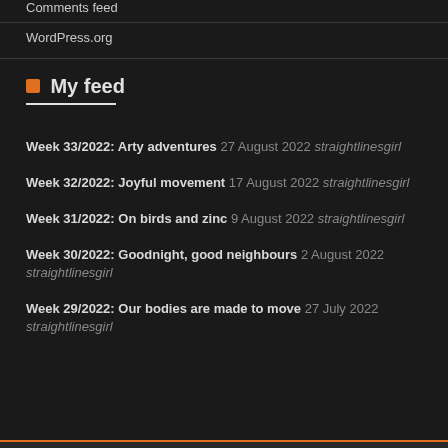Comments feed
WordPress.org
My feed
Week 33/2022: Arty adventures 27 August 2022 straightlinesgirl
Week 32/2022: Joyful movement 17 August 2022 straightlinesgirl
Week 31/2022: On birds and zinc 9 August 2022 straightlinesgirl
Week 30/2022: Goodnight, good neighbours 2 August 2022 straightlinesgirl
Week 29/2022: Our bodies are made to move 27 July 2022 straightlinesgirl